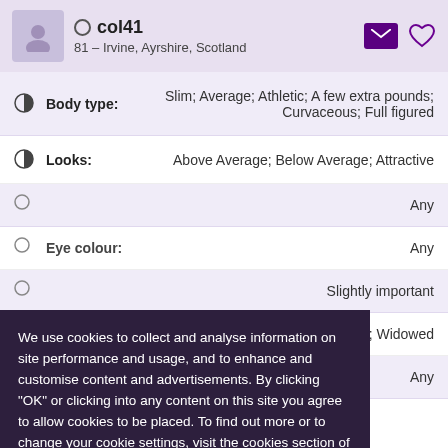col41 – 81 – Irvine, Ayrshire, Scotland
Body type: Slim; Average; Athletic; A few extra pounds; Curvaceous; Full figured
Looks: Above Average; Below Average; Attractive
Any
Eye colour: Any
Slightly important
Status: Single; Separated; Divorced; Widowed
Have children: Any
We use cookies to collect and analyse information on site performance and usage, and to enhance and customise content and advertisements. By clicking "OK" or clicking into any content on this site you agree to allow cookies to be placed. To find out more or to change your cookie settings, visit the cookies section of our Privacy Policy.
OK